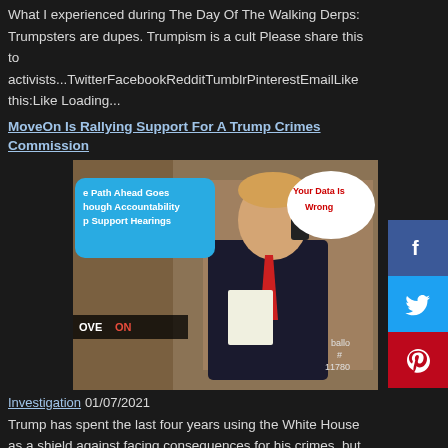What I experienced during The Day Of The Walking Derps: Trumpsters are dupes. Trumpism is a cult Please share this to activists...TwitterFacebookRedditTumblrPinterestEmailLike this:Like Loading...
MoveOn Is Rallying Support For A Trump Crimes Commission
[Figure (photo): Meme image showing a figure on the phone with speech bubbles: 'The Path Ahead Goes Through Accountability and Support Hearings' in blue, 'Your Data Is Wrong' in white/red, MoveOn logo overlay, and ballot/11780 text.]
Investigation 01/07/2021
Trump has spent the last four years using the White House as a shield against facing consequences for his crimes, but in just 15 days, that protection ends, and we need to launch a campaign. ...
Bernie Sanders Calls Out Cheapskate Republican COVID Aid Bill
[Figure (photo): Two side-by-side photos of politicians, left appears to be an older man at a desk, right appears to be Bernie Sanders gesturing.]